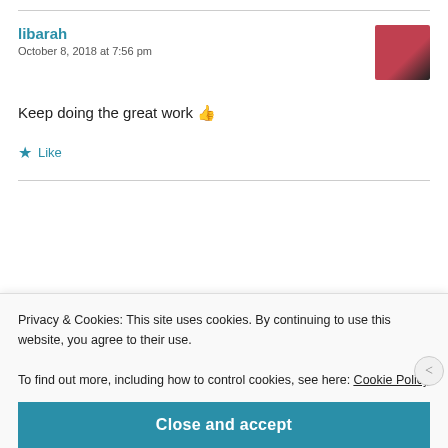libarah
October 8, 2018 at 7:56 pm
Keep doing the great work 👍
Like
The Maple Cutting Board
Privacy & Cookies: This site uses cookies. By continuing to use this website, you agree to their use.
To find out more, including how to control cookies, see here: Cookie Policy
Close and accept